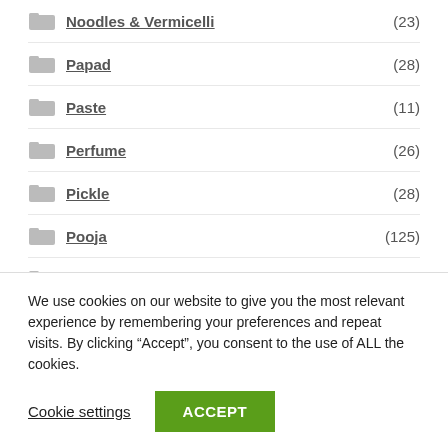Noodles & Vermicelli (23)
Papad (28)
Paste (11)
Perfume (26)
Pickle (28)
Pooja (125)
Poultry (2)
Powder & Starch (46)
Readymade Entrees (2)
We use cookies on our website to give you the most relevant experience by remembering your preferences and repeat visits. By clicking “Accept”, you consent to the use of ALL the cookies.
Cookie settings
ACCEPT